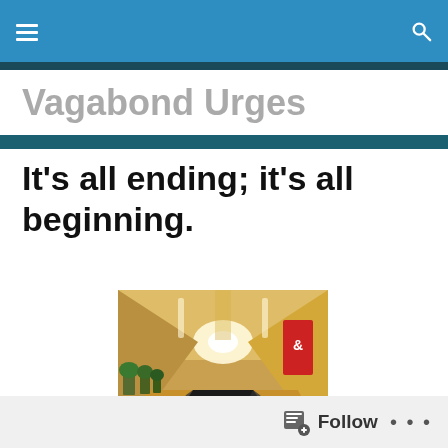Navigation bar with hamburger menu and search icon
Vagabond Urges
It’s all ending; it’s all beginning.
[Figure (photo): Airport moving walkway / travelator corridor perspective shot with warm lighting, red signage on the right, and plants on the left.]
Follow •••